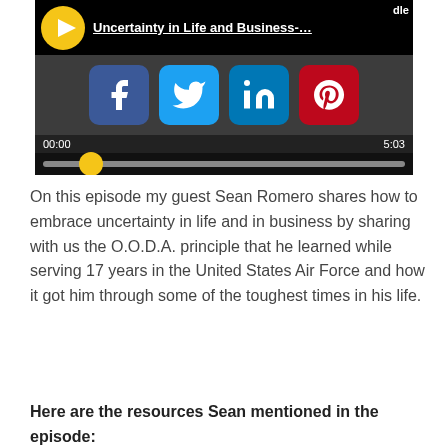[Figure (screenshot): Embedded video/audio player showing social share buttons (Facebook, Twitter, LinkedIn, Pinterest), time display 00:00 / 5:03, and a playback progress bar with yellow thumb]
On this episode my guest Sean Romero shares how to embrace uncertainty in life and in business by sharing with us the O.O.D.A. principle that he learned while serving 17 years in the United States Air Force and how it got him through some of the toughest times in his life.
Here are the resources Sean mentioned in the episode: